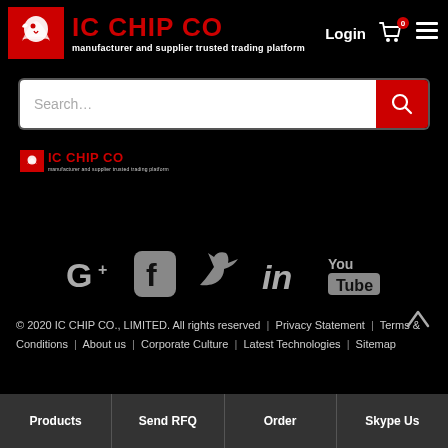[Figure (logo): IC CHIP CO logo with red eagle emblem and red brand name, tagline: manufacturer and supplier trusted trading platform. Header also shows Login, cart icon with 0 badge, and hamburger menu.]
[Figure (screenshot): White search bar with placeholder text 'Search...' and red search button with magnifying glass icon]
[Figure (logo): Small IC CHIP CO footer logo with red icon, brand name and tagline]
[Figure (infographic): Social media icons row: Google+, Facebook, Twitter, LinkedIn, YouTube in grey/white on black background]
© 2020 IC CHIP CO., LIMITED. All rights reserved | Privacy Statement | Terms & Conditions | About us | Corporate Culture | Latest Technologies | Sitemap
Products | Send RFQ | Order | Skype Us